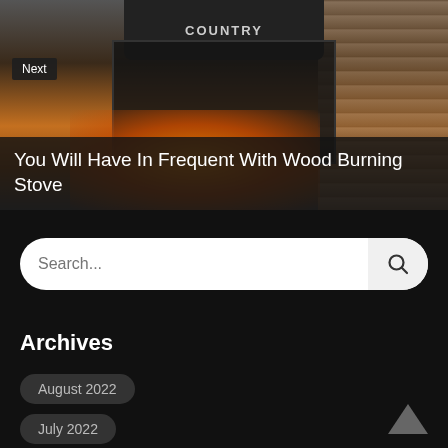[Figure (photo): Photo of a black wood burning stove with 'COUNTRY' text on top, surrounded by log walls, with fire glowing inside. A 'Next' badge is overlaid on the top left.]
You Will Have In Frequent With Wood Burning Stove
Search...
Archives
August 2022
July 2022